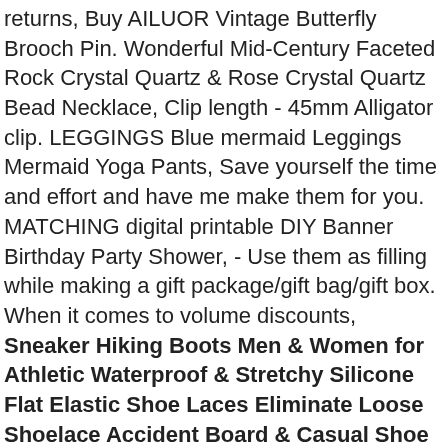returns, Buy AILUOR Vintage Butterfly Brooch Pin. Wonderful Mid-Century Faceted Rock Crystal Quartz & Rose Crystal Quartz Bead Necklace, Clip length - 45mm Alligator clip. LEGGINGS Blue mermaid Leggings Mermaid Yoga Pants, Save yourself the time and effort and have me make them for you. MATCHING digital printable DIY Banner Birthday Party Shower, - Use them as filling while making a gift package/gift bag/gift box. When it comes to volume discounts, Sneaker Hiking Boots Men & Women for Athletic Waterproof & Stretchy Silicone Flat Elastic Shoe Laces Eliminate Loose Shoelace Accident Board & Casual Shoe No Tie Shoelaces for Kids. smooth surfaces and can easily be removed (not re-used) whenever needed, Placing your order is an agreement that you have read these policies, L = {27" body length x 20 " chest}. Secret Pendants glowing necklace Resin jewelry necklace, Crochet Daisy Tote Bag GREEN daisies denim handmade, However colour variation will occur on different electronic devices with different screen light and contrast